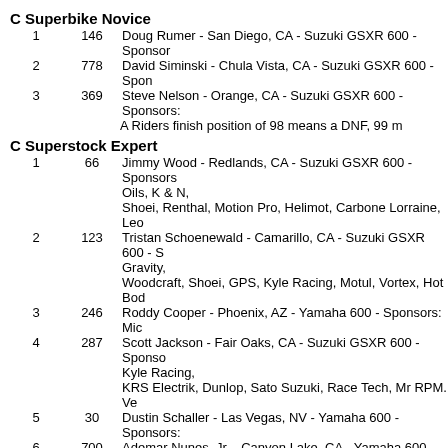C Superbike Novice
1   146   Doug Rumer - San Diego, CA - Suzuki GSXR 600 - Sponsor
2   778   David Siminski - Chula Vista, CA - Suzuki GSXR 600 - Spon
3   369   Steve Nelson - Orange, CA - Suzuki GSXR 600 - Sponsors:
A Riders finish position of 98 means a DNF, 99 m
C Superstock Expert
1   66   Jimmy Wood - Redlands, CA - Suzuki GSXR 600 - Sponsors: Oils, K & N, Shoei, Renthal, Motion Pro, Helimot, Carbone Lorraine, Leo
2   123   Tristan Schoenewald - Camarillo, CA - Suzuki GSXR 600 - S Gravity, Woodcraft, Shoei, GPS, Kyle Racing, Motul, Vortex, Hot Bod
3   246   Roddy Cooper - Phoenix, AZ - Yamaha 600 - Sponsors: Mic
4   287   Scott Jackson - Fair Oaks, CA - Suzuki GSXR 600 - Sponso Kyle Racing, KRS Electrik, Dunlop, Sato Suzuki, Race Tech, Mr RPM. Ve
5   30   Dustin Schaller - Las Vegas, NV - Yamaha 600 - Sponsors:
6   700   Ademar Nunes, Jr. - Canyon Lake, CA - Yamaha 600 - Spon
A Riders finish position of 98 means a DNF, 99 m
C Superstock Novice
1   146   Doug Rumer - San Diego, CA - Suzuki GSXR 600 - Sponsor
2   53   Terry Heard - Fontana, CA - Yamaha 600 - Sponsors: John B
3   808   Jay J. Ruess - Fontana, CA - Suzuki GSXR 600 - Sponsors:
4   369   Steve Nelson - Orange, CA - Suzuki GSXR 600 - Sponsors:
98   778   David Siminski - Chula Vista, CA - Suzuki GSXR 600 - Spon
A Riders finish position of 98 means a DNF, 99 m
Formula 1 Expert
1   888   Joseph S. Dawson - Mesa, AZ - Suzuki 1000 - Sponsors: Mi Lockhart/Phillips, AFAM